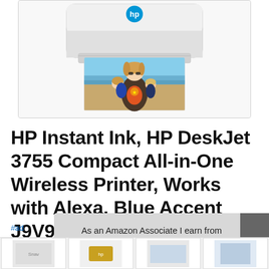[Figure (photo): HP DeskJet 3755 printer in white with HP logo on top, printing a photo of a mother with two young children at a beach]
HP Instant Ink, HP DeskJet 3755 Compact All-in-One Wireless Printer, Works with Alexa, Blue Accent J9V90A
#ad
As an Amazon Associate I earn from qualifying purchases. This website uses the only necessary cookies to ensure you get the best experience on our website. More information